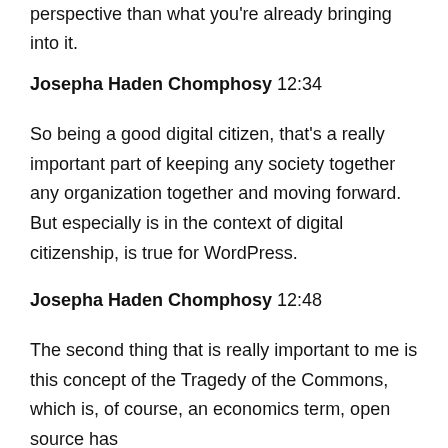perspective than what you're already bringing into it.
Josepha Haden Chomphosy  12:34
So being a good digital citizen, that's a really important part of keeping any society together any organization together and moving forward. But especially is in the context of digital citizenship, is true for WordPress.
Josepha Haden Chomphosy  12:48
The second thing that is really important to me is this concept of the Tragedy of the Commons, which is, of course, an economics term, open source has